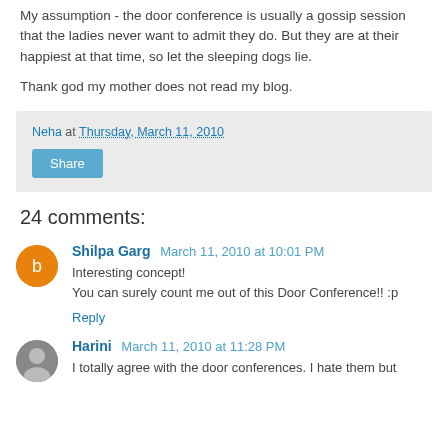My assumption - the door conference is usually a gossip session that the ladies never want to admit they do. But they are at their happiest at that time, so let the sleeping dogs lie.
Thank god my mother does not read my blog.
Neha at Thursday, March 11, 2010 | Share
24 comments:
Shilpa Garg  March 11, 2010 at 10:01 PM
Interesting concept!
You can surely count me out of this Door Conference!! :p
Reply
Harini  March 11, 2010 at 11:28 PM
I totally agree with the door conferences. I hate them but